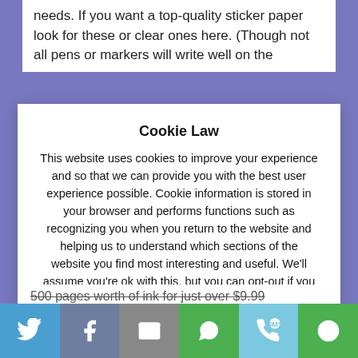needs. If you want a top-quality sticker paper look for these or clear ones here. (Though not all pens or markers will write well on the
Cookie Law
This website uses cookies to improve your experience and so that we can provide you with the best user experience possible. Cookie information is stored in your browser and performs functions such as recognizing you when you return to the website and helping us to understand which sections of the website you find most interesting and useful. We'll assume you're ok with this, but you can opt-out if you wish.
Accept   Read More
500 pages worth of ink for just over $9.99
Twitter | Facebook | Email | WhatsApp | SMS | More